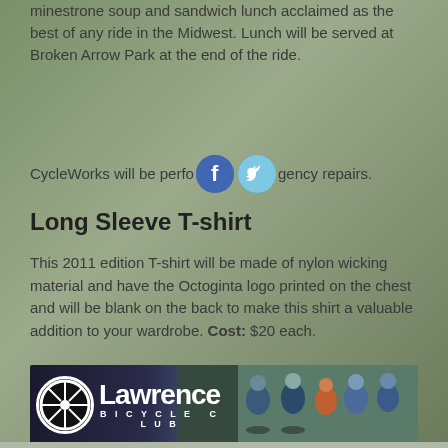minestrone soup and sandwich lunch acclaimed as the best of any ride in the Midwest. Lunch will be served at Broken Arrow Park at the end of the ride.
CycleWorks will be performing emergency repairs.
Long Sleeve T-shirt
This 2011 edition T-shirt will be made of nylon wicking material and have the Octoginta logo printed on the chest and will be blank on the back to make this shirt a valuable addition to your wardrobe. Cost: $20 each.
[Figure (photo): Lawrence Bicycle Club banner with logo and group of cyclists in cycling gear]